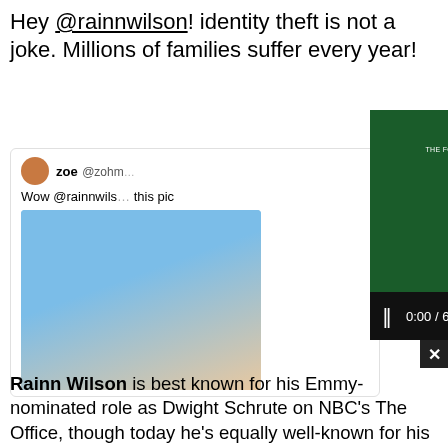Hey @rainnwilson! identity theft is not a joke. Millions of families suffer every year!
[Figure (screenshot): Tweet from user zoe @zohmy saying 'Wow @rainnwils this pic' with a photo of a person in a blue top]
[Figure (screenshot): Video player overlay showing Rumble video with green rating screen: 'THE FOLLOWING COMPILATION HAS BEEN APPROVED FOR ALL AUDIENCES BY ALL THE NICE PEOPLE FROM RUMBLE. THE COMPILATION HAS BEEN RATED G GENERAL AUDIENCES All Ages Admitted'. Controls show 0:00 / 6:29 with pause, volume, settings, and fullscreen buttons.]
Rainn Wilson is best known for his Emmy-nominated role as Dwight Schrute on NBC's The Office, though today he's equally well-known for his millions of Twitter followers and the philosophy website he founded, SoulPancake, which launched a New